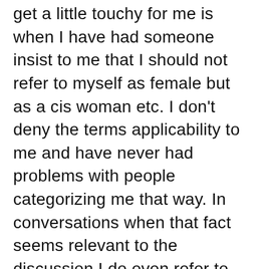get a little touchy for me is when I have had someone insist to me that I should not refer to myself as female but as a cis woman etc. I don't deny the terms applicability to me and have never had problems with people categorizing me that way. In conversations when that fact seems relevant to the discussion I do even refer to myself that way but in general life when talking or when as sometimes happens I am asked how I identify the answer for me is female. I also think that terms women and female etc should be open to use by anyone who self identifies that way so I don't mean to be exclusionary in saying that is how I identify. What you are saying about cis and trans being